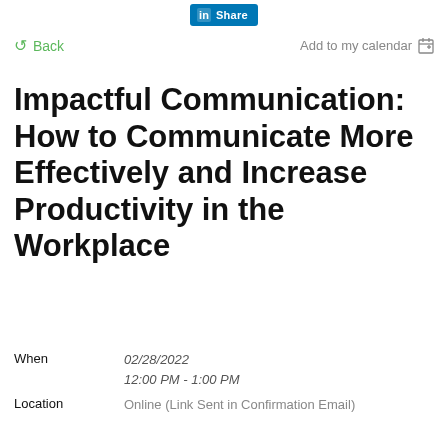[Figure (logo): LinkedIn Share button with blue background and 'in' logo icon]
Back
Add to my calendar
Impactful Communication: How to Communicate More Effectively and Increase Productivity in the Workplace
When	02/28/2022
12:00 PM - 1:00 PM
Location	Online (Link Sent in Confirmation Email)